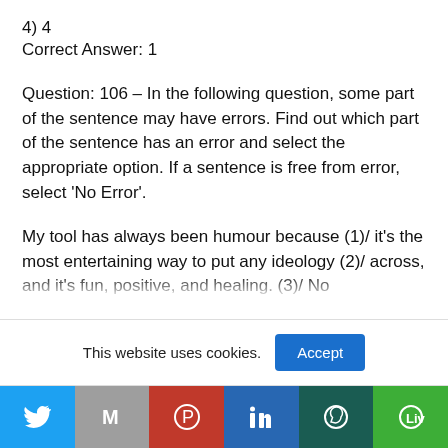4) 4
Correct Answer: 1
Question: 106 – In the following question, some part of the sentence may have errors. Find out which part of the sentence has an error and select the appropriate option. If a sentence is free from error, select 'No Error'.
My tool has always been humour because (1)/ it's the most entertaining way to put any ideology (2)/ across, and it's fun, positive, and healing. (3)/ No
This website uses cookies.
[Figure (other): Social share bar with icons for Twitter, Gmail, Pinterest, LinkedIn, WhatsApp, and Line]